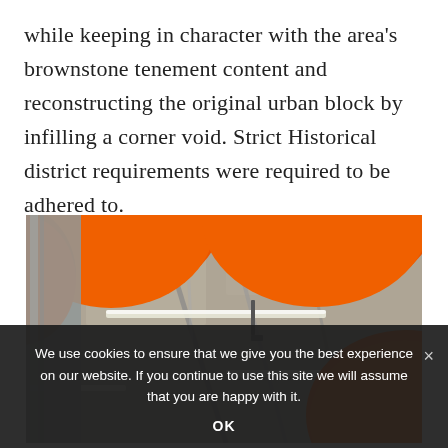while keeping in character with the area's brownstone tenement content and reconstructing the original urban block by infilling a corner void. Strict Historical district requirements were required to be adhered to.
[Figure (photo): Interior photograph looking upward at orange rounded acoustic panels or pendant lights suspended from an exposed concrete ceiling with metal conduit and linear fluorescent lighting.]
We use cookies to ensure that we give you the best experience on our website. If you continue to use this site we will assume that you are happy with it. OK